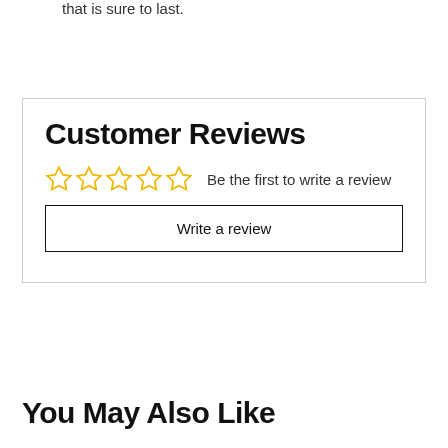that is sure to last.
Customer Reviews
Be the first to write a review
Write a review
You May Also Like